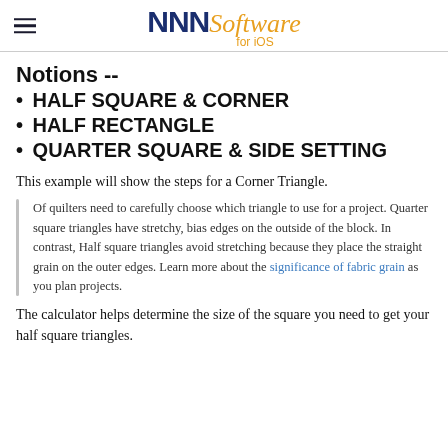NNN Software for iOS
Notions --
• HALF SQUARE & CORNER
• HALF RECTANGLE
• QUARTER SQUARE & SIDE SETTING
This example will show the steps for a Corner Triangle.
Of quilters need to carefully choose which triangle to use for a project. Quarter square triangles have stretchy, bias edges on the outside of the block. In contrast, Half square triangles avoid stretching because they place the straight grain on the outer edges. Learn more about the significance of fabric grain as you plan projects.
The calculator helps determine the size of the square you need to get your half square triangles.